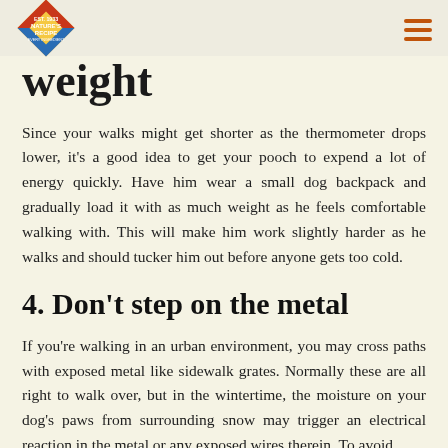Nature's Recipe
weight
Since your walks might get shorter as the thermometer drops lower, it's a good idea to get your pooch to expend a lot of energy quickly. Have him wear a small dog backpack and gradually load it with as much weight as he feels comfortable walking with. This will make him work slightly harder as he walks and should tucker him out before anyone gets too cold.
4. Don't step on the metal
If you're walking in an urban environment, you may cross paths with exposed metal like sidewalk grates. Normally these are all right to walk over, but in the wintertime, the moisture on your dog's paws from surrounding snow may trigger an electrical reaction in the metal or any exposed wires therein. To avoid